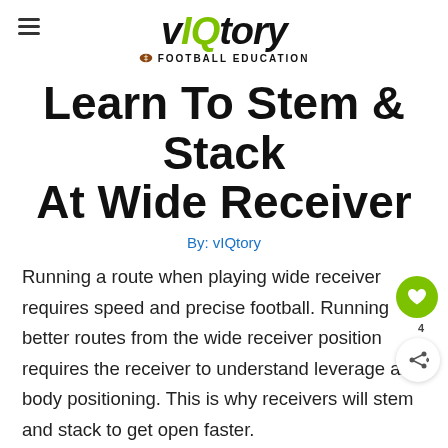vIQtory FOOTBALL EDUCATION
Learn To Stem & Stack At Wide Receiver
By: vIQtory
Running a route when playing wide receiver requires speed and precise football. Running better routes from the wide receiver position requires the receiver to understand leverage and body positioning. This is why receivers will stem and stack to get open faster.